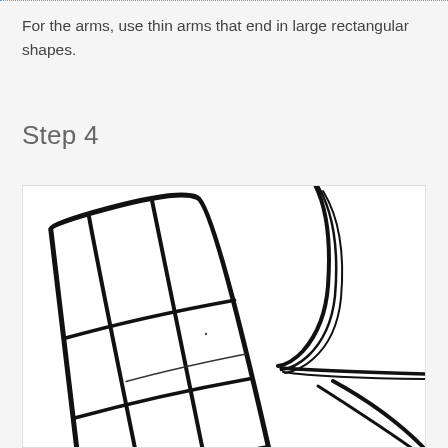For the arms, use thin arms that end in large rectangular shapes.
Step 4
[Figure (illustration): Hand-drawn sketch showing two large rectangular arm shapes with grid lines drawn in black ink on white background. The left shape is a large rounded rectangle divided into sections by vertical and horizontal lines. The right shape shows curved lines suggesting another arm. Both shapes are drawn in rough black marker style.]